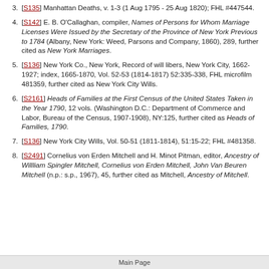[S135] Manhattan Deaths, v. 1-3 (1 Aug 1795 - 25 Aug 1820); FHL #447544.
[S142] E. B. O'Callaghan, compiler, Names of Persons for Whom Marriage Licenses Were Issued by the Secretary of the Province of New York Previous to 1784 (Albany, New York: Weed, Parsons and Company, 1860), 289, further cited as New York Marriages.
[S136] New York Co., New York, Record of will libers, New York City, 1662-1927; index, 1665-1870, Vol. 52-53 (1814-1817) 52:335-338, FHL microfilm 481359, further cited as New York City Wills.
[S2161] Heads of Families at the First Census of the United States Taken in the Year 1790, 12 vols. (Washington D.C.: Department of Commerce and Labor, Bureau of the Census, 1907-1908), NY:125, further cited as Heads of Families, 1790.
[S136] New York City Wills, Vol. 50-51 (1811-1814), 51:15-22; FHL #481358.
[S2491] Cornelius von Erden Mitchell and H. Minot Pitman, editor, Ancestry of Willliam Spingler Mitchell, Cornelius von Erden Mitchell, John Van Beuren Mitchell (n.p.: s.p., 1967), 45, further cited as Mitchell, Ancestry of Mitchell.
Main Page